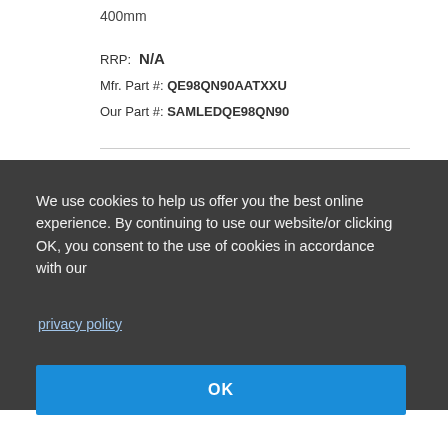400mm
RRP:  N/A
Mfr. Part #: QE98QN90AATXXU
Our Part #: SAMLEDQE98QN90
We use cookies to help us offer you the best online experience. By continuing to use our website/or clicking OK, you consent to the use of cookies in accordance with our
privacy policy
OK